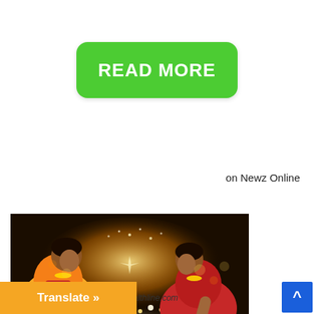READ MORE
on Newz Online
[Figure (photo): Two Indian women in traditional attire arranging diyas (oil lamps) on the floor with bright festive lights in the background during Diwali]
urtesy pic: www.healthline.com
Translate »
^